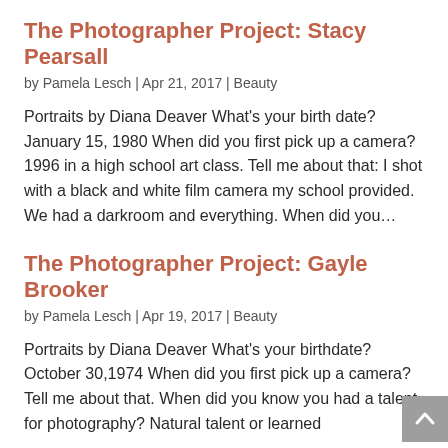The Photographer Project: Stacy Pearsall
by Pamela Lesch | Apr 21, 2017 | Beauty
Portraits by Diana Deaver What's your birth date?  January 15, 1980 When did you first pick up a camera? 1996 in a high school art class. Tell me about that: I shot with a black and white film camera my school provided. We had a darkroom and everything. When did you…
The Photographer Project: Gayle Brooker
by Pamela Lesch | Apr 19, 2017 | Beauty
Portraits by Diana Deaver What's your birthdate?  October 30,1974 When did you first pick up a camera?   Tell me about that. When did you know you had a talent for photography? Natural talent or learned